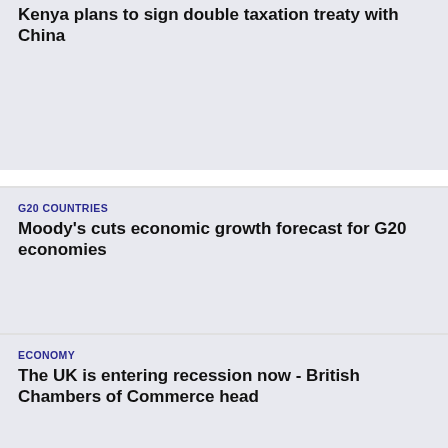Kenya plans to sign double taxation treaty with China
G20 COUNTRIES
Moody's cuts economic growth forecast for G20 economies
ECONOMY
The UK is entering recession now - British Chambers of Commerce head
ACQUISITION